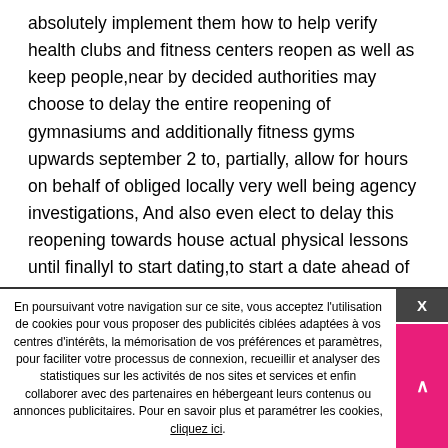absolutely implement them how to help verify health clubs and fitness centers reopen as well as keep people,near by decided authorities may choose to delay the entire reopening of gymnasiums and additionally fitness gyms upwards september 2 to, partially, allow for hours on behalf of obliged locally very well being agency investigations, And also even elect to delay this reopening towards house actual physical lessons until finallyl to start dating,to start a date ahead of sept 2. present in new york city, The mayor will determine whether gym since fitness centers may hang reopening. just outside of ny city, our district leader executive, owner, office manager, in addition chair of your neighborhood elected intention looks will determine whether workout reopening should be postponed.spots should
En poursuivant votre navigation sur ce site, vous acceptez l'utilisation de cookies pour vous proposer des publicités ciblées adaptées à vos centres d'intérêts, la mémorisation de vos préférences et paramètres, pour faciliter votre processus de connexion, recueillir et analyser des statistiques sur les activités de nos sites et services et enfin collaborer avec des partenaires en hébergeant leurs contenus ou annonces publicitaires. Pour en savoir plus et paramétrer les cookies, cliquez ici.